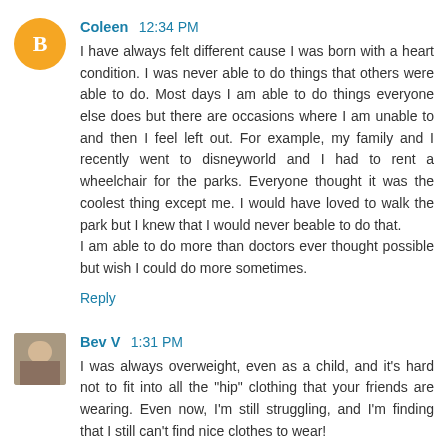[Figure (illustration): Blogger orange circle avatar with white B logo]
Coleen 12:34 PM
I have always felt different cause I was born with a heart condition. I was never able to do things that others were able to do. Most days I am able to do things everyone else does but there are occasions where I am unable to and then I feel left out. For example, my family and I recently went to disneyworld and I had to rent a wheelchair for the parks. Everyone thought it was the coolest thing except me. I would have loved to walk the park but I knew that I would never beable to do that.
I am able to do more than doctors ever thought possible but wish I could do more sometimes.
Reply
[Figure (photo): Small profile photo of Bev V]
Bev V 1:31 PM
I was always overweight, even as a child, and it's hard not to fit into all the "hip" clothing that your friends are wearing. Even now, I'm still struggling, and I'm finding that I still can't find nice clothes to wear!